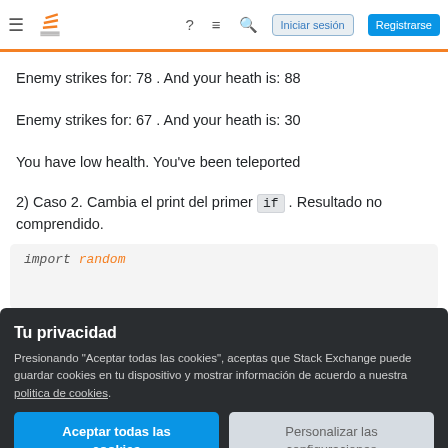Stack Overflow navigation bar with hamburger, logo, help, chat, search icons, Iniciar sesión and Registrarse buttons
Enemy strikes for: 78 . And your heath is: 88
Enemy strikes for: 67 . And your heath is: 30
You have low health. You've been teleported
2) Caso 2. Cambia el print del primer if . Resultado no comprendido.
[Figure (screenshot): Code block showing: import random]
Tu privacidad
Presionando "Aceptar todas las cookies", aceptas que Stack Exchange puede guardar cookies en tu dispositivo y mostrar información de acuerdo a nuestra politica de cookies.
Aceptar todas las cookies | Personalizar las configuraciones
playerhp = playerhp - dmg